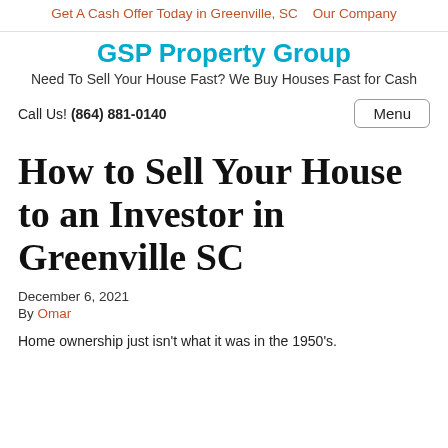Get A Cash Offer Today in Greenville, SC   Our Company
GSP Property Group
Need To Sell Your House Fast? We Buy Houses Fast for Cash
Call Us! (864) 881-0140
How to Sell Your House to an Investor in Greenville SC
December 6, 2021
By Omar
Home ownership just isn't what it was in the 1950's.